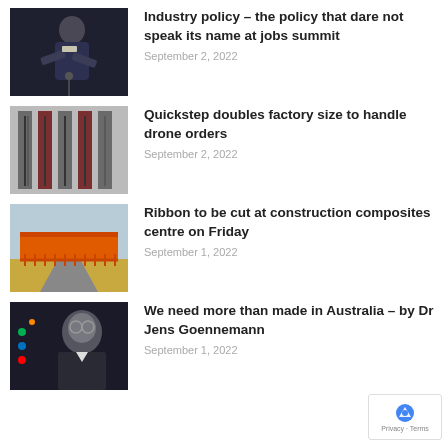[Figure (photo): Man in suit speaking at a podium]
Industry policy – the policy that dare not speak its name at jobs summit
September 2, 2022
[Figure (photo): Industrial machinery close-up, black and white tones]
Quickstep doubles factory size to handle drone orders
September 2, 2022
[Figure (photo): Aerial view of orange covered bridge construction]
Ribbon to be cut at construction composites centre on Friday
September 1, 2022
[Figure (photo): Man with glasses in a suit, dark background]
We need more than made in Australia – by Dr Jens Goennemann
September 1, 2022